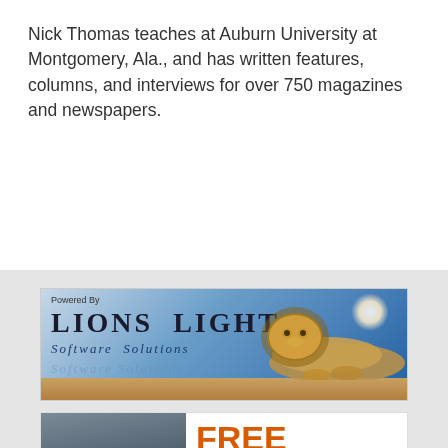Nick Thomas teaches at Auburn University at Montgomery, Ala., and has written features, columns, and interviews for over 750 magazines and newspapers.
[Figure (logo): Lions Light Software Solutions banner ad with blue gradient background, lion image, glowing sun, text 'Powered By LIONS LIGHT Software Solutions']
[Figure (infographic): Free Estate Planning Webinars advertisement with photo of older woman with white hair and glasses, orange bold text: FREE Estate Planning Webinars, bullet points: Telephone and virtual appointments available. Answering your questions]